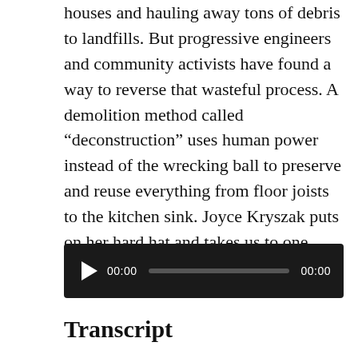houses and hauling away tons of debris to landfills. But progressive engineers and community activists have found a way to reverse that wasteful process. A demolition method called “deconstruction” uses human power instead of the wrecking ball to preserve and reuse everything from floor joists to the kitchen sink. Joyce Kryszak puts on her hard hat and takes us to one deconstruction site:
[Figure (other): Audio player widget with black background, play button (triangle), time display 00:00 on left, progress bar in center, and duration 00:00 on right.]
Transcript